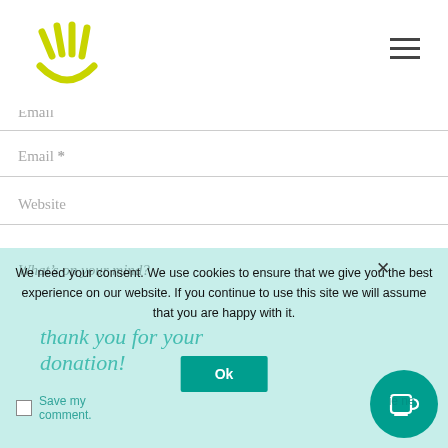[Figure (logo): Yellow-green smiley hand logo]
Email
Email *
Website
What’s on your mind?
thank you for your donation!
We need your consent. We use cookies to ensure that we give you the best experience on our website. If you continue to use this site we will assume that you are happy with it.
OK
Save my comment.
ie ne.